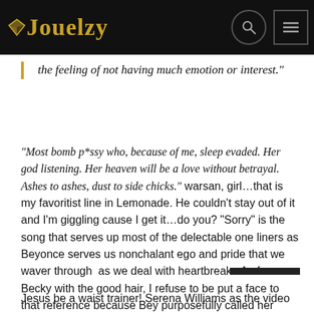Jouelzy
the feeling of not having much emotion or interest."
"Most bomb p*ssy who, because of me, sleep evaded. Her god listening. Her heaven will be a love without betrayal. Ashes to ashes, dust to side chicks." warsan, girl…that is my favoritist line in Lemonade. He couldn't stay out of it and I'm giggling cause I get it…do you? "Sorry" is the song that serves up most of the delectable one liners as Beyonce serves us nonchalant ego and pride that we waver through  as we deal with heartbreak.  As for Becky with the good hair, I refuse to be put a face to that reference because Bey purposefully called her Becky to pay her dust. Ole' baby hair brigade hoe.
Jesus be a waist trainer! Serena Williams as the video